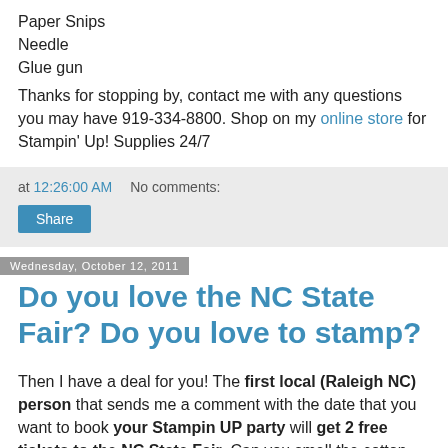Paper Snips
Needle
Glue gun
Thanks for stopping by, contact me with any questions you may have 919-334-8800. Shop on my online store for Stampin' Up! Supplies 24/7
at 12:26:00 AM   No comments:
Share
Wednesday, October 12, 2011
Do you love the NC State Fair? Do you love to stamp?
Then I have a deal for you! The first local (Raleigh NC) person that sends me a comment with the date that you want to book your Stampin UP party will get 2 free tickets to the NC State Fair. Can you smell the cotton candy now. I